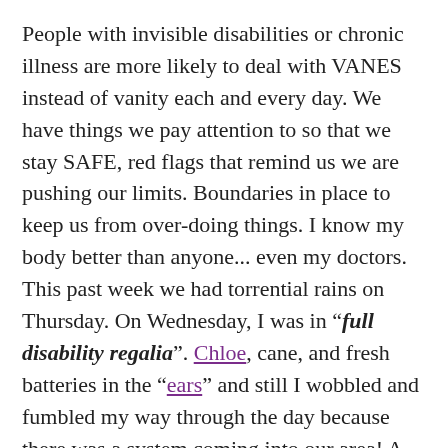People with invisible disabilities or chronic illness are more likely to deal with VANES instead of vanity each and every day. We have things we pay attention to so that we stay SAFE, red flags that remind us we are pushing our limits. Boundaries in place to keep us from over-doing things. I know my body better than anyone... even my doctors. This past week we had torrential rains on Thursday. On Wednesday, I was in “full disability regalia”. Chloe, cane, and fresh batteries in the “ears” and still I wobbled and fumbled my way through the day because there was a system coming into our area! A student said, “Wow your balance is really off today!”
I replied, “Yes! I’m a human barometer and much more accurate than the Weather Channel!”